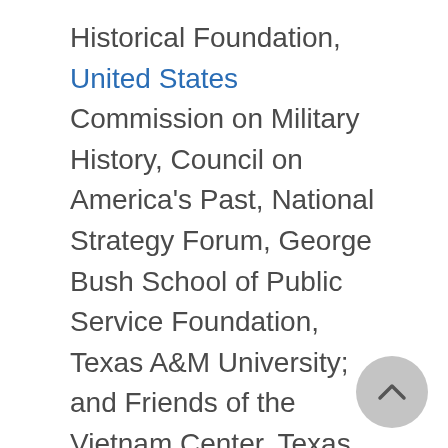Historical Foundation, United States Commission on Military History, Council on America's Past, National Strategy Forum, George Bush School of Public Service Foundation, Texas A&M University; and Friends of the Vietnam Center, Texas Tech University.
MEMBER:
Society for Military History, Phi Alpha Theta, American Historical Association, Organization of A...